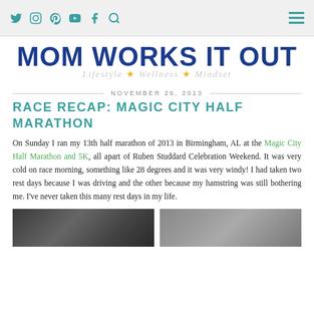Social media icons (Twitter, Instagram, Pinterest, YouTube, Facebook, Search) and hamburger menu
[Figure (logo): Mom Works It Out blog logo — bold blue uppercase text with italic gray subtitle 'Lifestyle ★ Wellness ★ Mindset' with gold stars]
NOVEMBER 26, 2013
RACE RECAP: MAGIC CITY HALF MARATHON
On Sunday I ran my 13th half marathon of 2013 in Birmingham, AL at the Magic City Half Marathon and 5K, all apart of Ruben Studdard Celebration Weekend. It was very cold on race morning, something like 28 degrees and it was very windy! I had taken two rest days because I was driving and the other because my hamstring was still bothering me. I've never taken this many rest days in my life.
[Figure (photo): Two partial photos at the bottom of the page, left showing a dark race/crowd scene, right showing another race-related image]